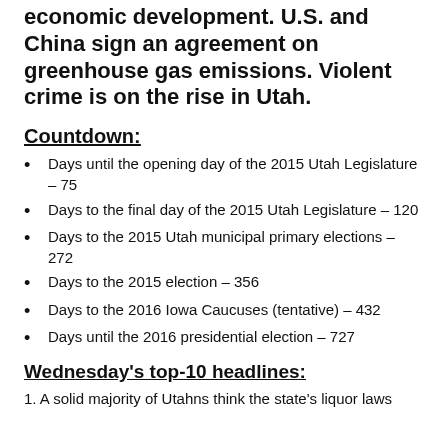economic development. U.S. and China sign an agreement on greenhouse gas emissions. Violent crime is on the rise in Utah.
Countdown:
Days until the opening day of the 2015 Utah Legislature – 75
Days to the final day of the 2015 Utah Legislature – 120
Days to the 2015 Utah municipal primary elections – 272
Days to the 2015 election – 356
Days to the 2016 Iowa Caucuses (tentative) – 432
Days until the 2016 presidential election – 727
Wednesday's top-10 headlines:
1. A solid majority of Utahns think the state's liquor laws